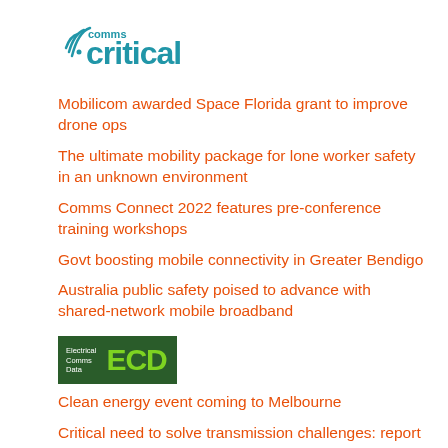[Figure (logo): Critical Comms logo with signal waves icon and 'comms' above 'critical' in blue/teal text]
Mobilicom awarded Space Florida grant to improve drone ops
The ultimate mobility package for lone worker safety in an unknown environment
Comms Connect 2022 features pre-conference training workshops
Govt boosting mobile connectivity in Greater Bendigo
Australia public safety poised to advance with shared-network mobile broadband
[Figure (logo): ECD logo — dark green rectangle with 'Electrical Comms Data' small text on left and large green 'ECD' letters on right]
Clean energy event coming to Melbourne
Critical need to solve transmission challenges: report